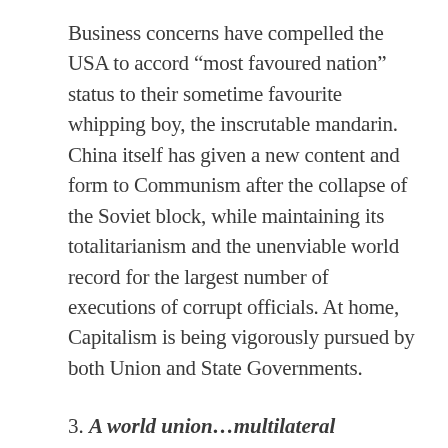Business concerns have compelled the USA to accord “most favoured nation” status to their sometime favourite whipping boy, the inscrutable mandarin. China itself has given a new content and form to Communism after the collapse of the Soviet block, while maintaining its totalitarianism and the unenviable world record for the largest number of executions of corrupt officials. At home, Capitalism is being vigorously pursued by both Union and State Governments.
3. A world union…multilateral citizenship, willed interchange or voluntary fusion of cultures.
After the United Nations, the European Union has been the most remarkable feat of the...